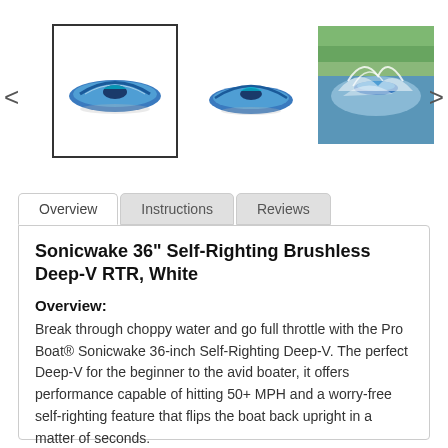[Figure (photo): Product image carousel showing three views of the Sonicwake 36 RC boat: selected thumbnail with border (blue/white boat top view), second thumbnail (boat side view), and a photo of the boat speeding on water. Navigation arrows on left and right.]
Overview    Instructions    Reviews
Sonicwake 36" Self-Righting Brushless Deep-V RTR, White
Overview:
Break through choppy water and go full throttle with the Pro Boat® Sonicwake 36-inch Self-Righting Deep-V. The perfect Deep-V for the beginner to the avid boater, it offers performance capable of hitting 50+ MPH and a worry-free self-righting feature that flips the boat back upright in a matter of seconds.